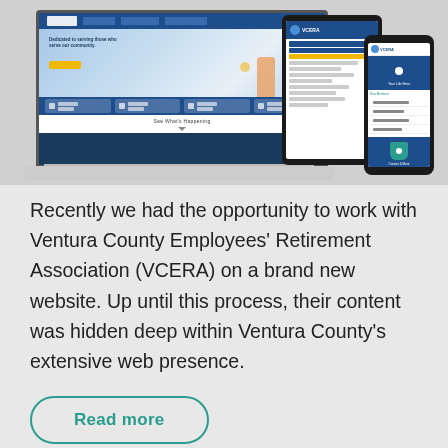[Figure (screenshot): Screenshot of VCERA website displayed on laptop, tablet, and smartphone mockups showing the Ventura County Employees Retirement Association website with navigation, hero image of a person walking on a beach, and mobile-responsive layouts.]
Recently we had the opportunity to work with Ventura County Employees' Retirement Association (VCERA) on a brand new website. Up until this process, their content was hidden deep within Ventura County's extensive web presence.
Read more